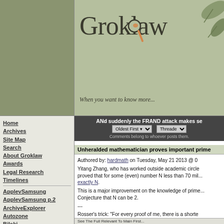[Figure (logo): Groklaw website header with magnifying glass logo and leaf decoration on olive green background. Tagline: When you want to know more...]
Groklaw - When you want to know more...
Home
Archives
Site Map
Search
About Groklaw
Awards
Legal Research
Timelines
ApplevSamsung
ApplevSamsung p.2
ArchiveExplorer
Autozone
Bilski
Cases
Cast: Lawyers
Comes v. MS
Contracts/Documents
Courts
DRM
Gordon v MS
GPL
Grokdoc
HTML How To
ANd suddenly the FRAND attack makes se...
Unheralded mathematician proves important prime...
Authored by: hardmath on Tuesday, May 21 2013 @ 0...
Yitang Zhang, who has worked outside academic circles, proved that for some (even) number N less than 70 million, there are infinitely many pairs of primes that differ by exactly N.
This is a major improvement on the knowledge of prime gaps, towards proving the Twin Prime Conjecture that N can be 2.
---
Rosser's trick: "For every proof of me, there is a shorter..."
[ Reply to This | Parent | # ]
I have no clue about the significance, but - A... @ 04:43 PM EDT
Dedication, and lots of help from oth... Thursday, May 23 2013 @ 07:01 PM ED...